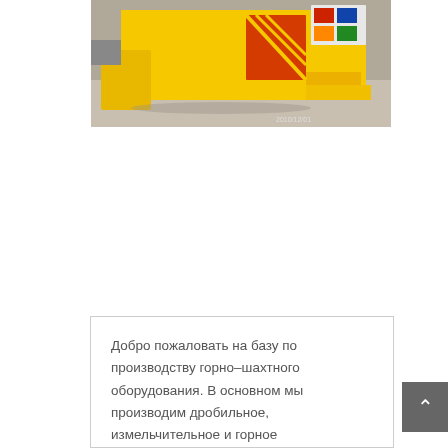[Figure (photo): A yellow industrial machine or equipment (mining/crushing equipment) photographed in what appears to be a warehouse or factory floor setting. The equipment is bright yellow with some red and other colored components visible. A date stamp '2010/12/01' is visible in the lower right corner of the photo.]
Добро пожаловать на базу по производству горно-шахтного оборудования. В основном мы производим дробильное, измельчительное и горное